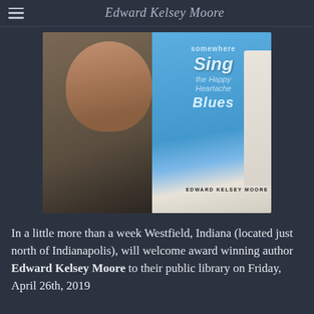Edward Kelsey Moore
[Figure (photo): A photo collage showing a smiling Black man with a gray beard on the left side, and a book cover on the right side. The book cover shows 'Sing the Happy Heartache Blues' by Edward Kelsey Moore with a blue background.]
In a little more than a week Westfield, Indiana (located just north of Indianapolis), will welcome award winning author Edward Kelsey Moore to their public library on Friday, April 26th, 2019